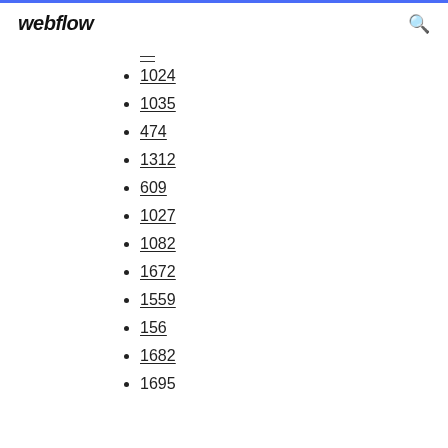webflow
—
1024
1035
474
1312
609
1027
1082
1672
1559
156
1682
1695